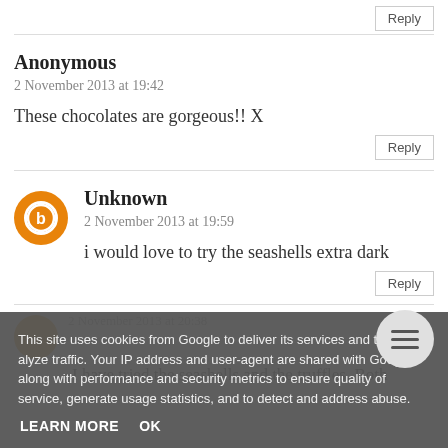Reply
Anonymous
2 November 2013 at 19:42
These chocolates are gorgeous!! X
Reply
Unknown
2 November 2013 at 19:59
i would love to try the seashells extra dark
Reply
This site uses cookies from Google to deliver its services and to analyze traffic. Your IP address and user-agent are shared with Google along with performance and security metrics to ensure quality of service, generate usage statistics, and to detect and address abuse.
LEARN MORE
OK
2 November 2013 at 20:38
I have tried the seashells and the truffles. Both